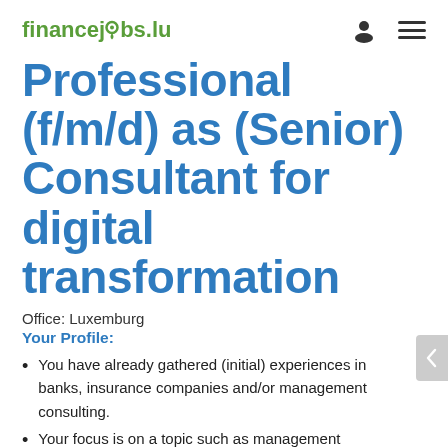financejobs.lu
Professional (f/m/d) as (Senior) Consultant for digital transformation
Office: Luxemburg
Your Profile:
You have already gathered (initial) experiences in banks, insurance companies and/or management consulting.
Your focus is on a topic such as management accounting, risk controlling, accounting or regulatory